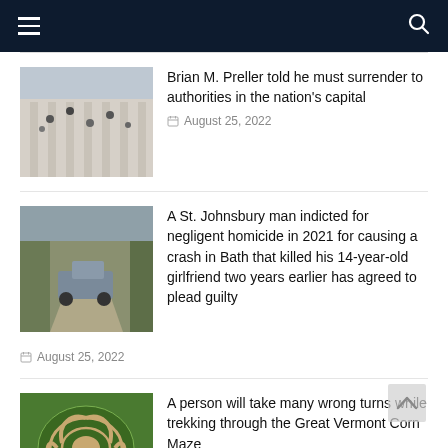Navigation bar with menu and search icons
[Figure (photo): People climbing the exterior of a large stone building, crowd scene]
Brian M. Preller told he must surrender to authorities in the nation's capital
August 25, 2022
[Figure (photo): Pickup truck on a muddy dirt road in a wooded area with damage]
A St. Johnsbury man indicted for negligent homicide in 2021 for causing a crash in Bath that killed his 14-year-old girlfriend two years earlier has agreed to plead guilty
August 25, 2022
[Figure (photo): Aerial view of corn maze with ornate swirling pattern design on green field]
A person will take many wrong turns while trekking through the Great Vermont Corn Maze
August 24, 2022